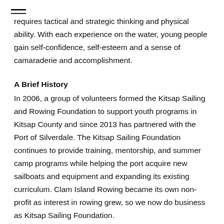requires tactical and strategic thinking and physical ability. With each experience on the water, young people gain self-confidence, self-esteem and a sense of camaraderie and accomplishment.
A Brief History
In 2006, a group of volunteers formed the Kitsap Sailing and Rowing Foundation to support youth programs in Kitsap County and since 2013 has partnered with the Port of Silverdale. The Kitsap Sailing Foundation continues to provide training, mentorship, and summer camp programs while helping the port acquire new sailboats and equipment and expanding its existing curriculum. Clam Island Rowing became its own non-profit as interest in rowing grew, so we now do business as Kitsap Sailing Foundation.